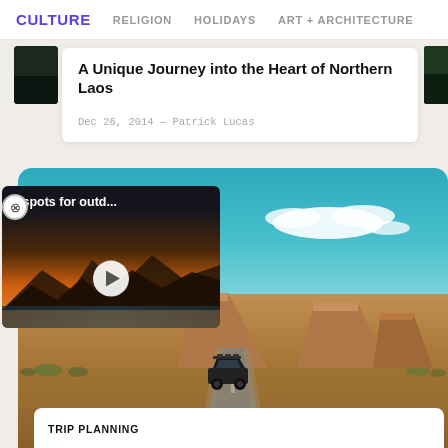CULTURE  RELIGION  HOLIDAYS  ART + ARCHITECTURE
A Unique Journey into the Heart of Northern Laos
Dec 26, 2014 — Patrick Lucas
[Figure (photo): Video overlay thumbnail showing sunset over mountains with play button, titled '8 spots for outd...']
[Figure (photo): Full-width photo of a vehicle driving on a straight road through an arid landscape with mesas and blue sky with clouds]
TRIP PLANNING